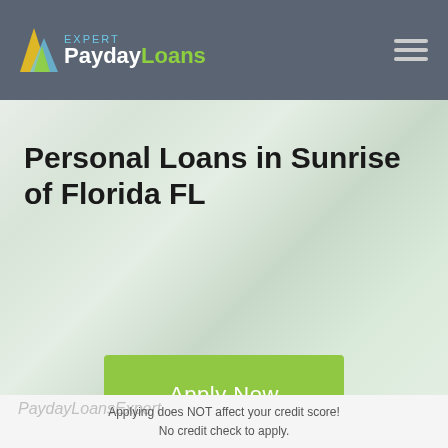PaydayLoans Expert – navigation bar with hamburger menu
Personal Loans in Sunrise of Florida FL
[Figure (other): Green Apply Now button]
PaydayLoansExpert
Applying does NOT affect your credit score! No credit check to apply.